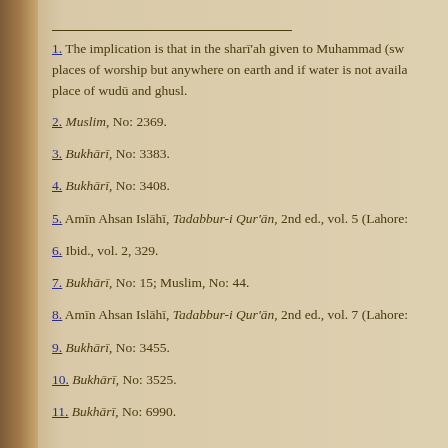1. The implication is that in the sharī'ah given to Muhammad (sw) places of worship but anywhere on earth and if water is not available place of wudū and ghusl.
2. Muslim, No: 2369.
3. Bukhārī, No: 3383.
4. Bukhārī, No: 3408.
5. Amīn Ahsan Islāhī, Tadabbur-i Qur'ān, 2nd ed., vol. 5 (Lahore:
6. Ibid., vol. 2, 329.
7. Bukhārī, No: 15; Muslim, No: 44.
8. Amīn Ahsan Islāhī, Tadabbur-i Qur'ān, 2nd ed., vol. 7 (Lahore:
9. Bukhārī, No: 3455.
10. Bukhārī, No: 3525.
11. Bukhārī, No: 6990.